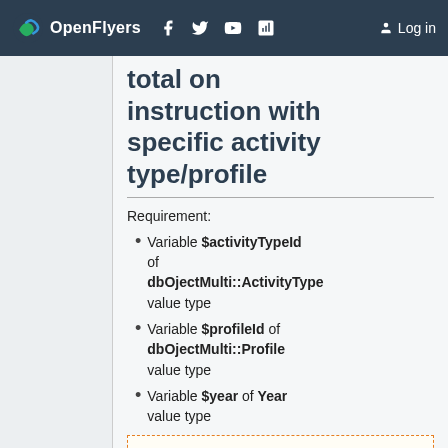OpenFlyers | Log in
total on instruction with specific activity type/profile
Requirement:
Variable $activityTypeId of dbOjectMulti::ActivityType value type
Variable $profileId of dbOjectMulti::Profile value type
Variable $year of Year value type
SELECT
tmp.flight.activity_type